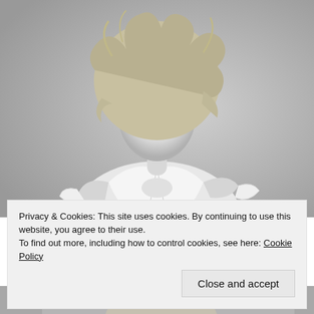[Figure (photo): Black and white portrait photo of a young woman with voluminous curly hair wearing a white tied shirt, looking at the camera against a neutral background.]
Privacy & Cookies: This site uses cookies. By continuing to use this website, you agree to their use.
To find out more, including how to control cookies, see here: Cookie Policy
Close and accept
[Figure (photo): Partial view of a second black and white photo at the bottom of the page.]